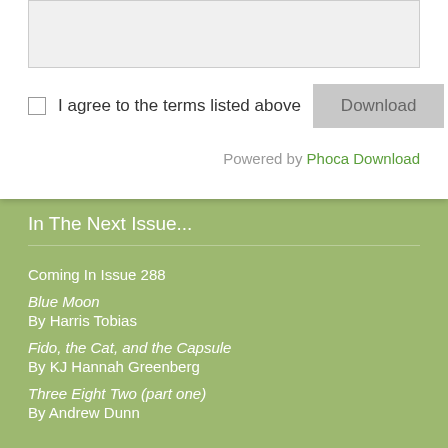I agree to the terms listed above
Download
Powered by Phoca Download
In The Next Issue...
Coming In Issue 288
Blue Moon
By Harris Tobias
Fido, the Cat, and the Capsule
By KJ Hannah Greenberg
Three Eight Two (part one)
By Andrew Dunn